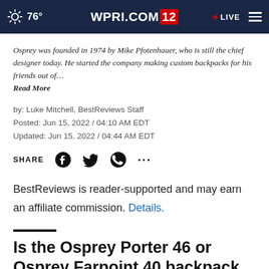76° WPRI.COM/12 • LIVE
Osprey was founded in 1974 by Mike Pfotenhauer, who is still the chief designer today. He started the company making custom backpacks for his friends out of…
Read More
by: Luke Mitchell, BestReviews Staff
Posted: Jun 15, 2022 / 04:10 AM EDT
Updated: Jun 15, 2022 / 04:44 AM EDT
SHARE
BestReviews is reader-supported and may earn an affiliate commission. Details.
Is the Osprey Porter 46 or Osprey Farpoint 40 backpack better?